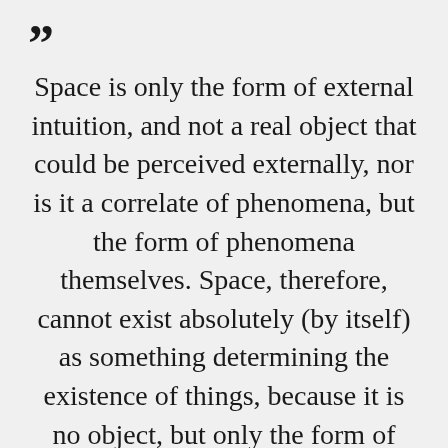Space is only the form of external intuition, and not a real object that could be perceived externally, nor is it a correlate of phenomena, but the form of phenomena themselves. Space, therefore, cannot exist absolutely (by itself) as something determining the existence of things, because it is no object, but only the form of possible objects. Things, therefore, as phenomenal, may indeed determine space, that is, impart reality to one or other of its